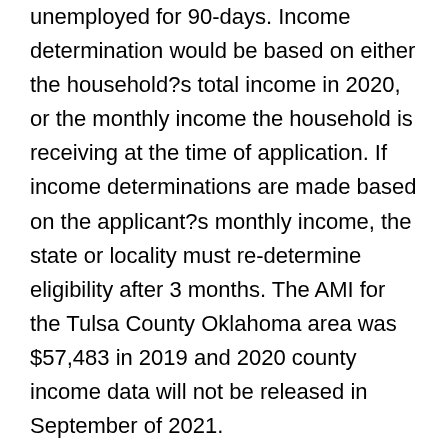unemployed for 90-days. Income determination would be based on either the household?s total income in 2020, or the monthly income the household is receiving at the time of application. If income determinations are made based on the applicant?s monthly income, the state or locality must re-determine eligibility after 3 months. The AMI for the Tulsa County Oklahoma area was $57,483 in 2019 and 2020 county income data will not be released in September of 2021.
Under the bill, households are eligible for emergency rental assistance funds if one or more individuals: (1) has qualified for unemployment benefits or can attest in writing that he or she has experienced a reduction in household income, incurred significant